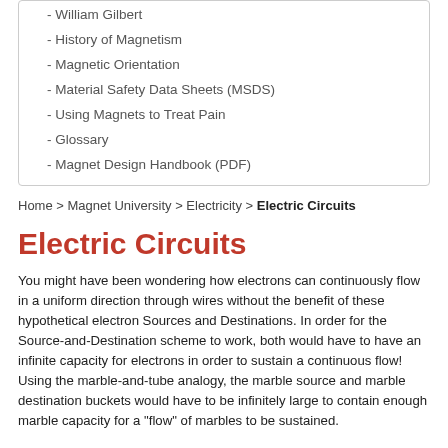- William Gilbert
- History of Magnetism
- Magnetic Orientation
- Material Safety Data Sheets (MSDS)
- Using Magnets to Treat Pain
- Glossary
- Magnet Design Handbook (PDF)
Home > Magnet University > Electricity > Electric Circuits
Electric Circuits
You might have been wondering how electrons can continuously flow in a uniform direction through wires without the benefit of these hypothetical electron Sources and Destinations. In order for the Source-and-Destination scheme to work, both would have to have an infinite capacity for electrons in order to sustain a continuous flow! Using the marble-and-tube analogy, the marble source and marble destination buckets would have to be infinitely large to contain enough marble capacity for a "flow" of marbles to be sustained.